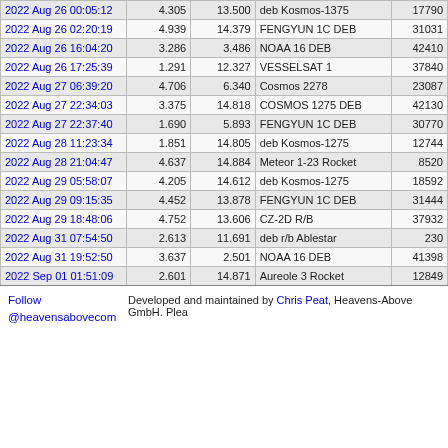| Date/Time | Mag | Alt (°) | Object | ID |
| --- | --- | --- | --- | --- |
| 2022 Aug 26 00:05:12 | 4.305 | 13.500 | deb Kosmos-1375 | 17790 |
| 2022 Aug 26 02:20:19 | 4.939 | 14.379 | FENGYUN 1C DEB | 31031 |
| 2022 Aug 26 16:04:20 | 3.286 | 3.486 | NOAA 16 DEB | 42410 |
| 2022 Aug 26 17:25:39 | 1.291 | 12.327 | VESSELSAT 1 | 37840 |
| 2022 Aug 27 06:39:20 | 4.706 | 6.340 | Cosmos 2278 | 23087 |
| 2022 Aug 27 22:34:03 | 3.375 | 14.818 | COSMOS 1275 DEB | 42130 |
| 2022 Aug 27 22:37:40 | 1.690 | 5.893 | FENGYUN 1C DEB | 30770 |
| 2022 Aug 28 11:23:34 | 1.851 | 14.805 | deb Kosmos-1275 | 12744 |
| 2022 Aug 28 21:04:47 | 4.637 | 14.884 | Meteor 1-23 Rocket | 8520 |
| 2022 Aug 29 05:58:07 | 4.205 | 14.612 | deb Kosmos-1275 | 18592 |
| 2022 Aug 29 09:15:35 | 4.452 | 13.878 | FENGYUN 1C DEB | 31444 |
| 2022 Aug 29 18:48:06 | 4.752 | 13.606 | CZ-2D R/B | 37932 |
| 2022 Aug 31 07:54:50 | 2.613 | 11.691 | deb r/b Ablestar | 230 |
| 2022 Aug 31 19:52:50 | 3.637 | 2.501 | NOAA 16 DEB | 41398 |
| 2022 Sep 01 01:51:09 | 2.601 | 14.871 | Aureole 3 Rocket | 12849 |
Follow @heavensabovecom  Developed and maintained by Chris Peat, Heavens-Above GmbH. Plea...